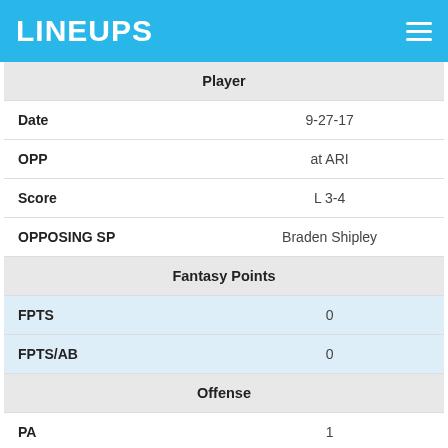LINEUPS
| Player |  |
| --- | --- |
| Date | 9-27-17 |
| OPP | at ARI |
| Score | L 3-4 |
| OPPOSING SP | Braden Shipley |
| Fantasy Points |  |
| FPTS | 0 |
| FPTS/AB | 0 |
| Offense |  |
| PA | 1 |
| H | 0 |
| 2B | 0 |
| 3B | 0 |